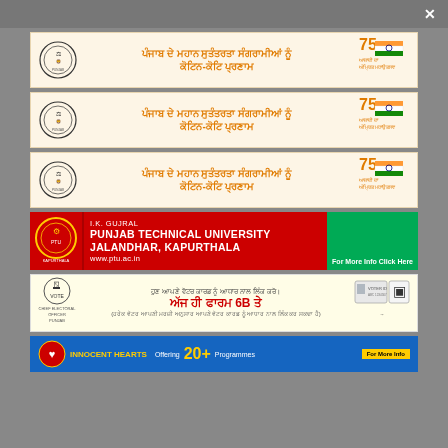[Figure (infographic): Punjab Government banner 1 with Punjabi text: ਪੰਜਾਬ ਦੇ ਮਹਾਨ ਸੁਤੰਤਰਤਾ ਸੰਗਰਾਮੀਆਂ ਨੂੰ ਕੋਟਿਨ-ਕੋਟਿ ਪ੍ਰਣਾਮ, govt seal and Azaadi Ka Amrit Mahotsav 75 logo]
[Figure (infographic): Punjab Government banner 2 - same as banner 1]
[Figure (infographic): Punjab Government banner 3 - same as banner 1]
[Figure (infographic): I.K. Gujral Punjab Technical University Jalandhar, Kapurthala banner with www.ptu.ac.in]
[Figure (infographic): Chief Electoral Officer Punjab - Voter Card Aadhaar link campaign - Form 6B]
[Figure (infographic): Innocent Hearts - Offering 20+ Programmes advertisement banner]